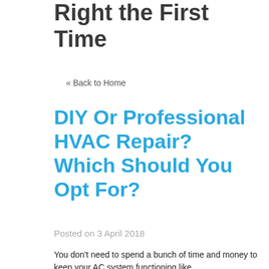Right the First Time
« Back to Home
DIY Or Professional HVAC Repair? Which Should You Opt For?
Posted on 3 April 2018
You don't need to spend a bunch of time and money to keep your AC system functioning like